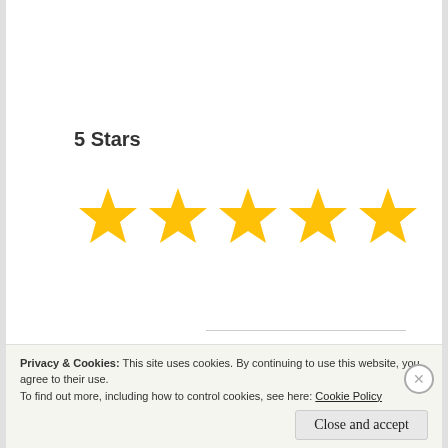5 Stars
[Figure (other): Five gold/yellow star rating icons in a horizontal row]
Come back next week, when we'll try a new, as-yet-to-be-determined burger!
Privacy & Cookies: This site uses cookies. By continuing to use this website, you agree to their use.
To find out more, including how to control cookies, see here: Cookie Policy